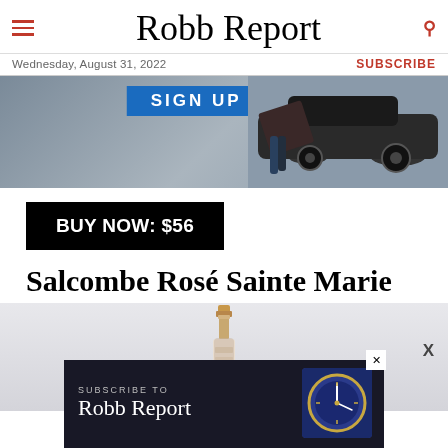Robb Report
Wednesday, August 31, 2022
SUBSCRIBE
[Figure (photo): Advertisement banner with 'SIGN UP' button and a person exiting a luxury car]
BUY NOW: $56
Salcombe Rosé Sainte Marie
[Figure (photo): Partial view of a rosé wine bottle with gold cap on a light gray background]
[Figure (photo): Bottom advertisement: 'SUBSCRIBE TO Robb Report' with a watch image]